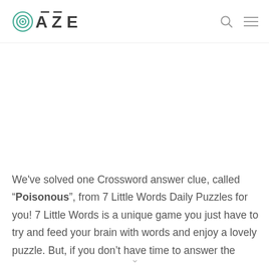OAZE
We've solved one Crossword answer clue, called “Poisonous”, from 7 Little Words Daily Puzzles for you! 7 Little Words is a unique game you just have to try and feed your brain with words and enjoy a lovely puzzle. But, if you don’t have time to answer the